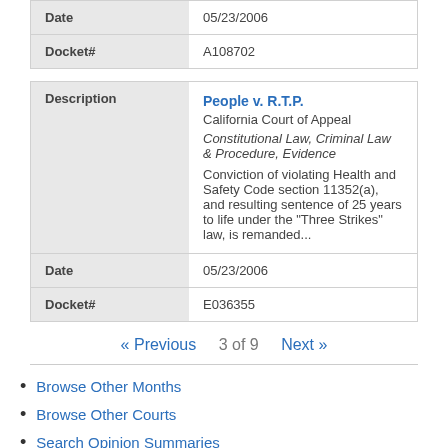|  |  |
| --- | --- |
| Date | 05/23/2006 |
| Docket# | A108702 |
|  |  |
| --- | --- |
| Description | People v. R.T.P.
California Court of Appeal
Constitutional Law, Criminal Law & Procedure, Evidence
Conviction of violating Health and Safety Code section 11352(a), and resulting sentence of 25 years to life under the "Three Strikes" law, is remanded... |
| Date | 05/23/2006 |
| Docket# | E036355 |
« Previous   3 of 9   Next »
Browse Other Months
Browse Other Courts
Search Opinion Summaries